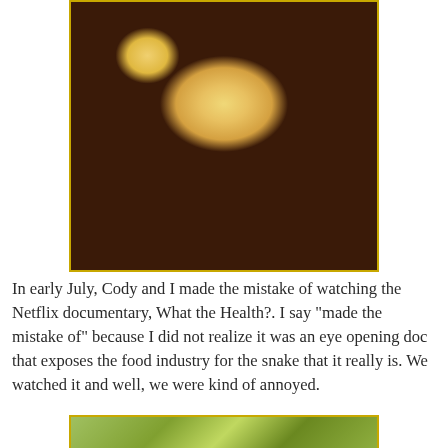[Figure (photo): Close-up photo of a chocolate chip muffin with cherries and raspberries in a baking cup, surrounded by fresh dark red cherries and more chocolate chips in the background.]
In early July, Cody and I made the mistake of watching the Netflix documentary, What the Health?. I say "made the mistake of" because I did not realize it was an eye opening doc that exposes the food industry for the snake that it really is. We watched it and well, we were kind of annoyed.
[Figure (photo): Partially visible photo at the bottom of the page, appears to show food items on a green surface.]